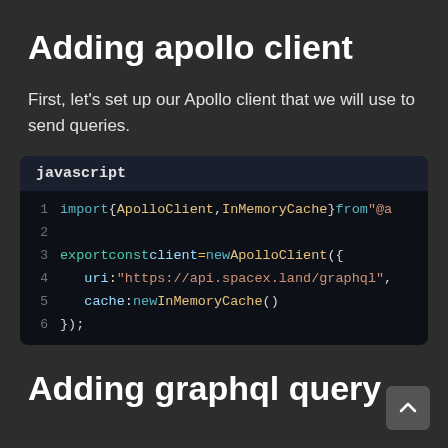Adding apollo client
First, let’s set up our Apollo client that we will use to send queries.
[Figure (screenshot): Code block with label 'javascript' showing JavaScript code: import { ApolloClient, InMemoryCache } from "@a... and export const client = new ApolloClient({ uri: "https://api.spacex.land/graphql", cache: new InMemoryCache() });]
Adding graphql query